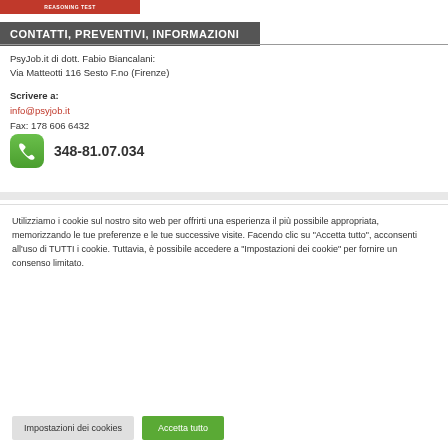[Figure (logo): Red banner with text REASONING TEST at the top left]
CONTATTI, PREVENTIVI, INFORMAZIONI
PsyJob.it di dott. Fabio Biancalani:
Via Matteotti 116 Sesto F.no (Firenze)
Scrivere a:
info@psyjob.it
Fax: 178 606 6432
348-81.07.034
Utilizziamo i cookie sul nostro sito web per offrirti una esperienza il più possibile appropriata, memorizzando le tue preferenze e le tue successive visite. Facendo clic su "Accetta tutto", acconsenti all'uso di TUTTI i cookie. Tuttavia, è possibile accedere a "Impostazioni dei cookie" per fornire un consenso limitato.
Impostazioni dei cookies
Accetta tutto